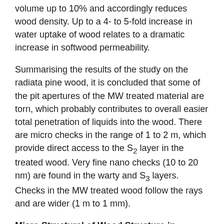volume up to 10% and accordingly reduces wood density. Up to a 4- to 5-fold increase in water uptake of wood relates to a dramatic increase in softwood permeability.
Summarising the results of the study on the radiata pine wood, it is concluded that some of the pit apertures of the MW treated material are torn, which probably contributes to overall easier total penetration of liquids into the wood. There are micro checks in the range of 1 to 2 m, which provide direct access to the S2 layer in the treated wood. Very fine nano checks (10 to 20 nm) are found in the warty and S3 layers. Checks in the MW treated wood follow the rays and are wider (1 m to 1 mm).
Micro Structural of Wood Structure in Norway